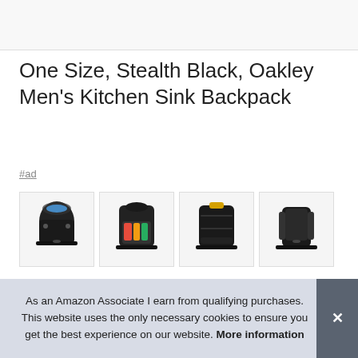[Figure (photo): Partial product image area at the top of the page, cropped]
One Size, Stealth Black, Oakley Men's Kitchen Sink Backpack
#ad
[Figure (photo): Four product photos of the Oakley Kitchen Sink Backpack from different angles showing a black tactical/outdoor backpack, some open showing interior compartments]
Oakley ... slee... protective storage. Compression molded back panel and
As an Amazon Associate I earn from qualifying purchases. This website uses the only necessary cookies to ensure you get the best experience on our website. More information